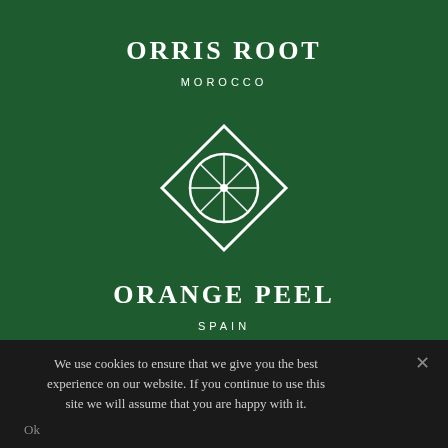ORRIS ROOT
MOROCCO
[Figure (illustration): Orange/citrus slice icon inside a diamond shape, drawn in white outline on dark green background]
ORANGE PEEL
SPAIN
We use cookies to ensure that we give you the best experience on our website. If you continue to use this site we will assume that you are happy with it.
Ok